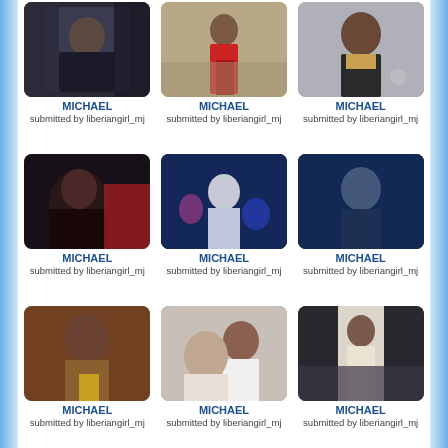[Figure (photo): Photo of Michael Jackson in crowd, dark clothing]
MICHAEL
submitted by liberiangirl_mj
[Figure (photo): Photo of Michael Jackson in red outfit on street]
MICHAEL
submitted by liberiangirl_mj
[Figure (photo): Photo of Michael Jackson in suit giving thumbs up]
MICHAEL
submitted by liberiangirl_mj
[Figure (photo): Close-up photo of Michael Jackson with dark hair]
MICHAEL
submitted by liberiangirl_mj
[Figure (photo): Michael Jackson performing on stage with dancers, blue lighting]
MICHAEL
submitted by liberiangirl_mj
[Figure (photo): Michael Jackson performing on stage in blue light]
MICHAEL
submitted by liberiangirl_mj
[Figure (photo): Michael Jackson with sunglasses and brown jacket]
MICHAEL
submitted by liberiangirl_mj
[Figure (photo): Michael Jackson with a woman, both in white]
MICHAEL
submitted by liberiangirl_mj
[Figure (photo): Michael Jackson on stage in white shirt, dramatic lighting]
MICHAEL
submitted by liberiangirl_mj